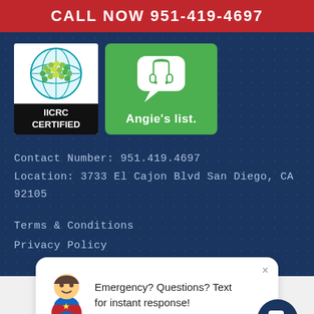CALL NOW 951-419-4697
[Figure (logo): IICRC Certified badge with globe logo and black label]
[Figure (logo): Angie's list green badge with chat bubble icon]
Contact Number: 951.419.4697
Location: 3733 El Cajon Blvd San Diego, CA 92105
Terms & Conditions
Privacy Policy
[Figure (screenshot): Live chat popup widget with mascot character and text: Emergency? Questions? Text for instant response! with dark blue chat button]
Emergency? Questions? Text for instant response!